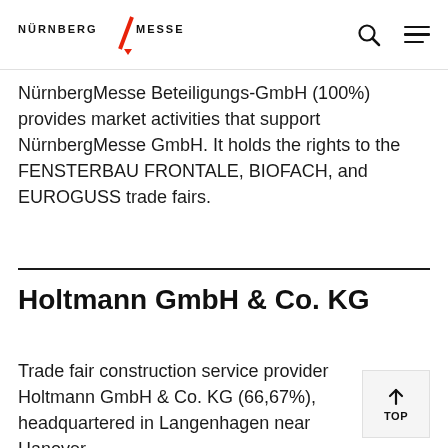NÜRNBERG MESSE
NürnbergMesse Beteiligungs-GmbH (100%) provides market activities that support NürnbergMesse GmbH. It holds the rights to the FENSTERBAU FRONTALE, BIOFACH, and EUROGUSS trade fairs.
Holtmann GmbH & Co. KG
Trade fair construction service provider Holtmann GmbH & Co. KG (66,67%), headquartered in Langenhagen near Hanover,